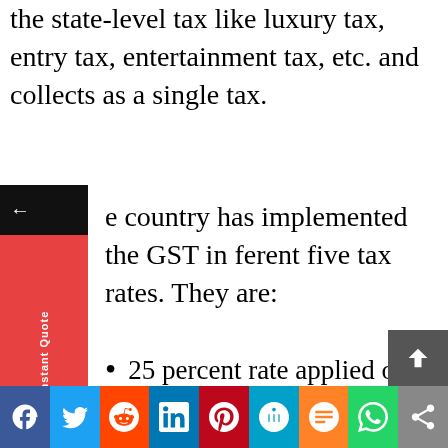the state-level tax like luxury tax, entry tax, entertainment tax, etc. and collects as a single tax.
the country has implemented the GST in different five tax rates. They are:
25 percent rate applied on a rough industrial diamond.
5 percent rate applied to packaged food items and footwear under Rs. 500; and apparel below Rs. 1000.
12 percent tax rate applied to apparel over Rs. 1000, sugar, cutlery, frozen